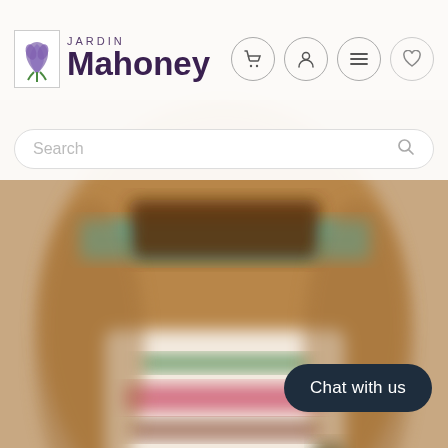[Figure (screenshot): Jardin Mahoney website screenshot showing a blurred product bag (soil/mulch) in the background, website header with logo, navigation icons, and search bar]
JARDIN Mahoney
Search
Chat with us